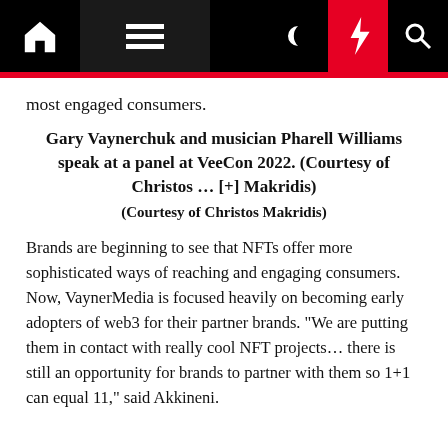Navigation bar with home, menu, moon, bolt, and search icons
most engaged consumers.
Gary Vaynerchuk and musician Pharell Williams speak at a panel at VeeCon 2022. (Courtesy of Christos … [+] Makridis)
(Courtesy of Christos Makridis)
Brands are beginning to see that NFTs offer more sophisticated ways of reaching and engaging consumers. Now, VaynerMedia is focused heavily on becoming early adopters of web3 for their partner brands. "We are putting them in contact with really cool NFT projects… there is still an opportunity for brands to partner with them so 1+1 can equal 11," said Akkineni.